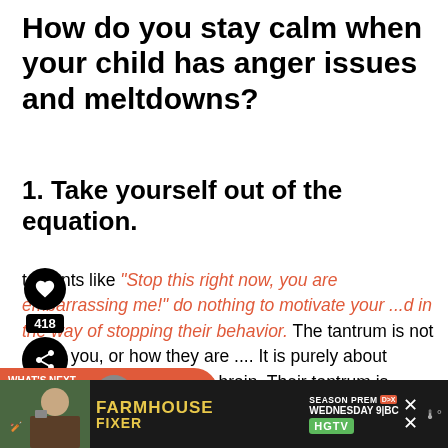How do you stay calm when your child has anger issues and meltdowns?
1. Take yourself out of the equation.
...tements like "Stop this right now, you are embarrassing me!" do nothing to motivate your ...d in the way of stopping their behavior. The tantrum is not about you, or how they are .... It is purely about them, their feelings, their brain. Their tantrum is about how they understand and cannot cope with their si...